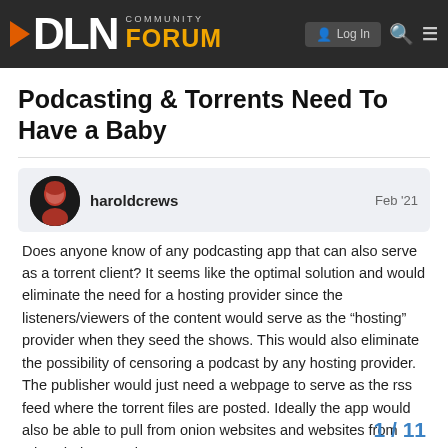DLN COMMUNITY FORUM
Podcasting & Torrents Need To Have a Baby
haroldcrews  Feb '21
Does anyone know of any podcasting app that can also serve as a torrent client? It seems like the optimal solution and would eliminate the need for a hosting provider since the listeners/viewers of the content would serve as the “hosting” provider when they seed the shows. This would also eliminate the possibility of censoring a podcast by any hosting provider. The publisher would just need a webpage to serve as the rss feed where the torrent files are posted. Ideally the app would also be able to pull from onion websites and websites from other dark networks.
1 / 11